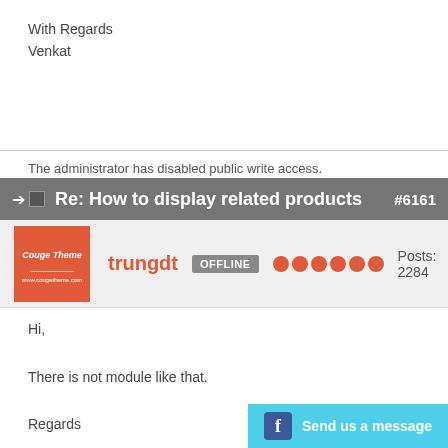With Regards
Venkat
The administrator has disabled public write access.
Re: How to display related products #6161
trungdt OFFLINE Posts: 2284
Hi,

There is not module like that.

Regards
Send us a message